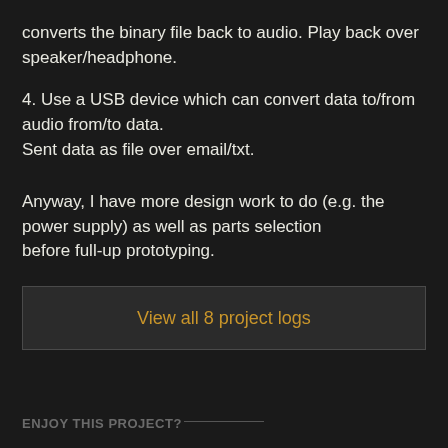converts the binary file back to audio. Play back over speaker/headphone.
4. Use a USB device which can convert data to/from audio from/to data.
Sent data as file over email/txt.
Anyway, I have more design work to do (e.g. the power supply) as well as parts selection
before full-up prototyping.
View all 8 project logs
ENJOY THIS PROJECT?